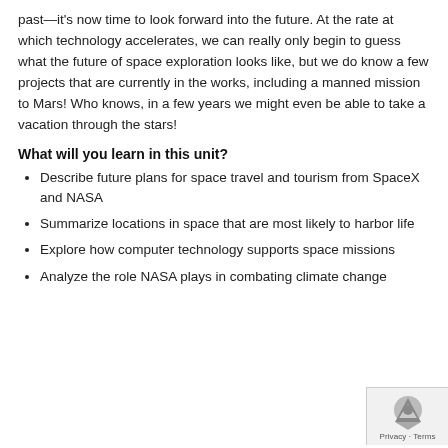past—it's now time to look forward into the future. At the rate at which technology accelerates, we can really only begin to guess what the future of space exploration looks like, but we do know a few projects that are currently in the works, including a manned mission to Mars! Who knows, in a few years we might even be able to take a vacation through the stars!
What will you learn in this unit?
Describe future plans for space travel and tourism from SpaceX and NASA
Summarize locations in space that are most likely to harbor life
Explore how computer technology supports space missions
Analyze the role NASA plays in combating climate change